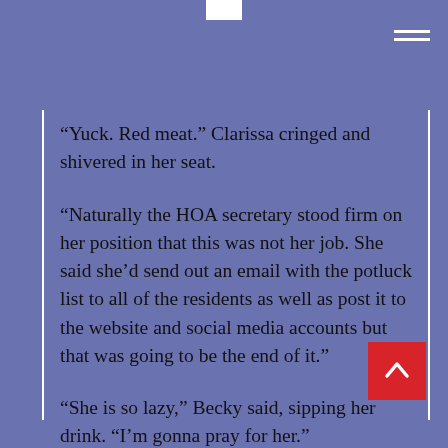“Yuck. Red meat.” Clarissa cringed and shivered in her seat.
“Naturally the HOA secretary stood firm on her position that this was not her job. She said she’d send out an email with the potluck list to all of the residents as well as post it to the website and social media accounts but that was going to be the end of it.”
“She is so lazy,” Becky said, sipping her drink. “I’m gonna pray for her.”
“I wasn’t going to stand for that,” Judy said,